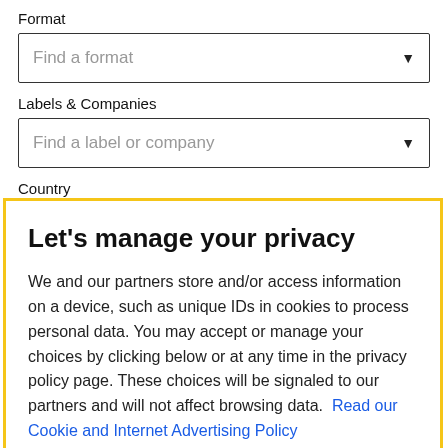Format
[Figure (screenshot): Dropdown box with placeholder text 'Find a format' and a down arrow]
Labels & Companies
[Figure (screenshot): Dropdown box with placeholder text 'Find a label or company' and a down arrow]
Country
Let's manage your privacy
We and our partners store and/or access information on a device, such as unique IDs in cookies to process personal data. You may accept or manage your choices by clicking below or at any time in the privacy policy page. These choices will be signaled to our partners and will not affect browsing data.  Read our Cookie and Internet Advertising Policy
Cookies Settings
Accept All Cookies